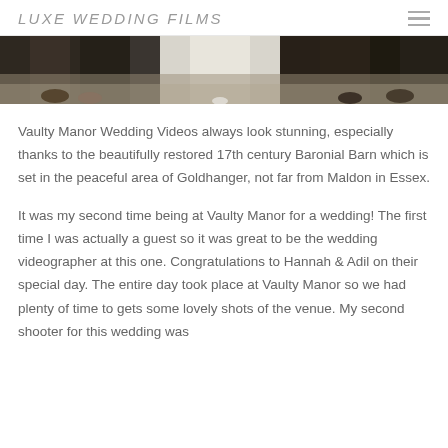LUXE WEDDING FILMS
[Figure (photo): Cropped wedding photo showing lower half of wedding party standing outdoors on gravel, including bride in white dress/veil and other guests in formal attire]
Vaulty Manor Wedding Videos always look stunning, especially thanks to the beautifully restored 17th century Baronial Barn which is set in the peaceful area of Goldhanger, not far from Maldon in Essex.
It was my second time being at Vaulty Manor for a wedding! The first time I was actually a guest so it was great to be the wedding videographer at this one. Congratulations to Hannah & Adil on their special day. The entire day took place at Vaulty Manor so we had plenty of time to gets some lovely shots of the venue. My second shooter for this wedding was